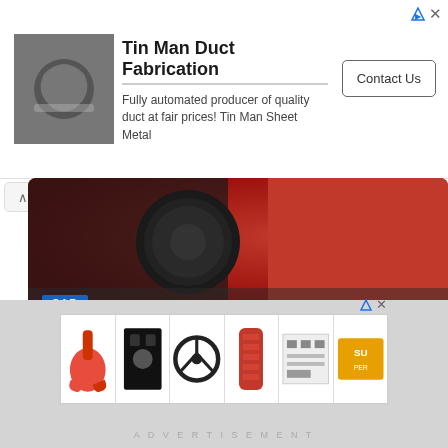[Figure (infographic): Top advertisement banner for Tin Man Duct Fabrication showing a metal duct image, company title, description text, and a Contact Us button]
Tin Man Duct Fabrication
Fully automated producer of quality duct at fair prices! Tin Man Sheet Metal
[Figure (photo): Hero image showing a car fuel cap area with red car body, black circular cap, labeled CAR badge in blue]
Oil: a global collapse to drive down prices?
According to Patrice Geoffron, professor of economics at Paris Dauphine University, the only way that could lead to a more...
19 DE AUGUST DE 2022
[Figure (infographic): Bottom advertisement banner showing product images: lobster claw tool, black bracket, steering wheel, red hose/tube, circuit board, and a logo]